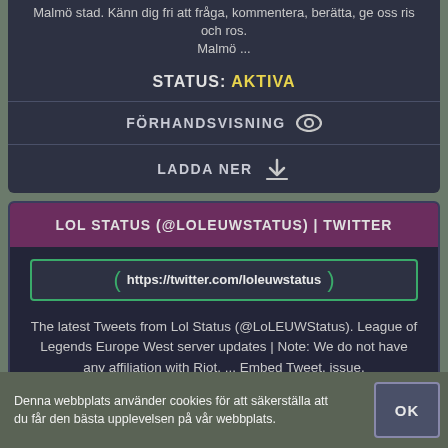Malmö stad. Känn dig fri att fråga, kommentera, berätta, ge oss ris och ros. Malmö ...
STATUS: AKTIVA
FÖRHANDSVISNING
LADDA NER
LOL STATUS (@LOLEUWSTATUS) | TWITTER
https://twitter.com/loleuwstatus
The latest Tweets from Lol Status (@LoLEUWStatus). League of Legends Europe West server updates | Note: We do not have any affiliation with Riot. ... Embed Tweet. issue. http://status.leagueoflegends.com/#euw (2/2). 9 replies 0 retweets 5 ...
STATUS: AKTIVA
Denna webbplats använder cookies för att säkerställa att du får den bästa upplevelsen på vår webbplats.